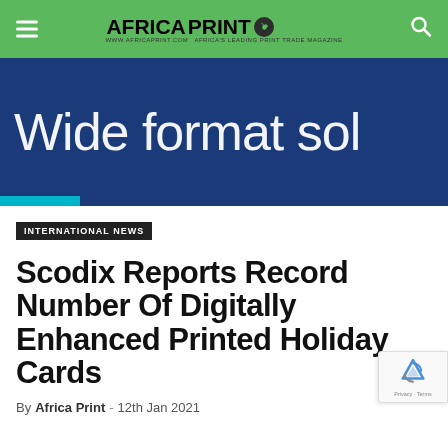AFRICA PRINT — www.africaprint.com
[Figure (illustration): Wide format solutions banner with dark blue background and large white text reading 'Wide format sol' (partially cropped), with a teal/cyan accent bar at the bottom left]
INTERNATIONAL NEWS
Scodix Reports Record Number Of Digitally Enhanced Printed Holiday Cards
By Africa Print - 12th Jan 2021